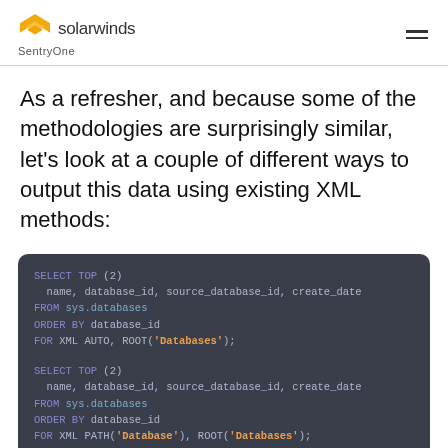solarwinds SentryOne
As a refresher, and because some of the methodologies are surprisingly similar, let's look at a couple of different ways to output this data using existing XML methods:
[Figure (screenshot): Dark-themed code block showing two SQL queries using FOR XML AUTO and FOR XML PATH methods with SELECT TOP (2) from sys.databases ordered by database_id]